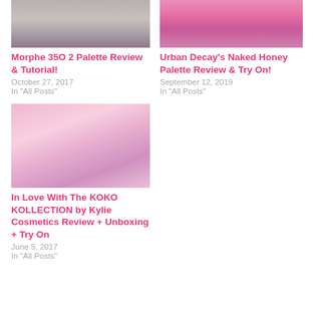[Figure (photo): Top-left thumbnail image of makeup palette content]
Morphe 35O 2 Palette Review & Tutorial!
October 27, 2017
In "All Posts"
[Figure (photo): Top-right thumbnail image of Urban Decay Naked Honey Palette]
Urban Decay's Naked Honey Palette Review & Try On!
September 12, 2019
In "All Posts"
[Figure (photo): Photo of blonde woman holding Koko Kollection by Kylie Cosmetics palettes against pink glitter background]
In Love With The KOKO KOLLECTION by Kylie Cosmetics Review + Unboxing + Try On
June 5, 2017
In "All Posts"